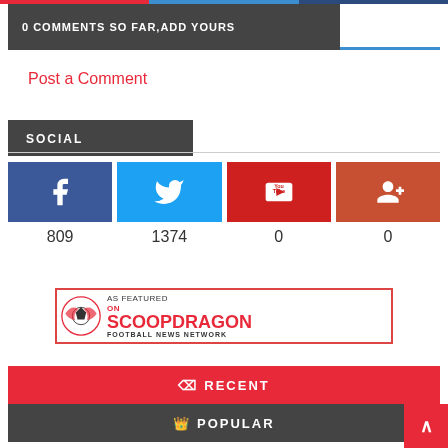0 COMMENTS SO FAR,ADD YOURS
Post a Comment
SOCIAL
[Figure (infographic): Social media icons grid: Facebook (809), Twitter (1374), YouTube (0), Google+ (0)]
[Figure (logo): As Featured On Scoopdragon Football News Network banner]
RECENT
POPULAR